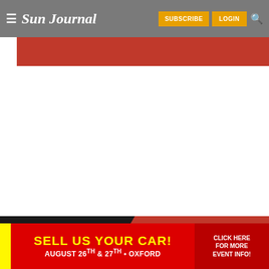Sun Journal — SUBSCRIBE | LOGIN
[Figure (screenshot): Red banner image area below navigation header]
MOST READ STORIES
Woman accidentally shot in Lewiston while grabbing Windham officer's gun, police say
[Figure (infographic): Advertisement: SELL US YOUR CAR! AUGUST 26TH & 27TH • OXFORD — CLICK HERE FOR MORE EVENT INFO!]